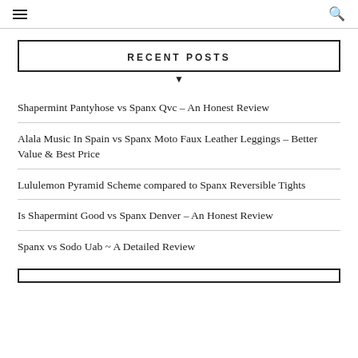≡  🔍
RECENT POSTS
Shapermint Pantyhose vs Spanx Qvc – An Honest Review
Alala Music In Spain vs Spanx Moto Faux Leather Leggings – Better Value & Best Price
Lululemon Pyramid Scheme compared to Spanx Reversible Tights
Is Shapermint Good vs Spanx Denver – An Honest Review
Spanx vs Sodo Uab ~ A Detailed Review